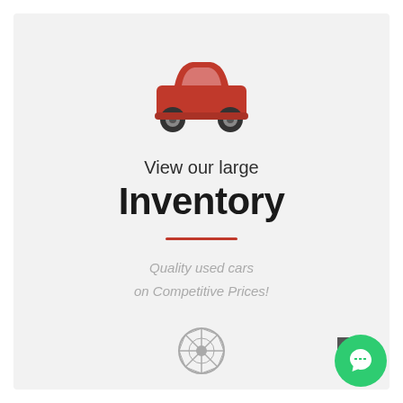[Figure (illustration): Red car icon (front view silhouette)]
View our large Inventory
Quality used cars on Competitive Prices!
[Figure (illustration): Gray wheel/rim icon]
[Figure (illustration): Green chat bubble button in bottom right corner]